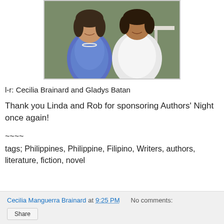[Figure (photo): Two women smiling and posing together indoors. The woman on the left wears a blue patterned top with a white pearl necklace. The woman on the right wears a white blouse. A table with papers is visible in the background.]
l-r: Cecilia Brainard and Gladys Batan
Thank you Linda and Rob for sponsoring Authors' Night once again!
~~~~
tags; Philippines, Philippine, Filipino, Writers, authors, literature, fiction, novel
Cecilia Manguerra Brainard at 9:25 PM   No comments: